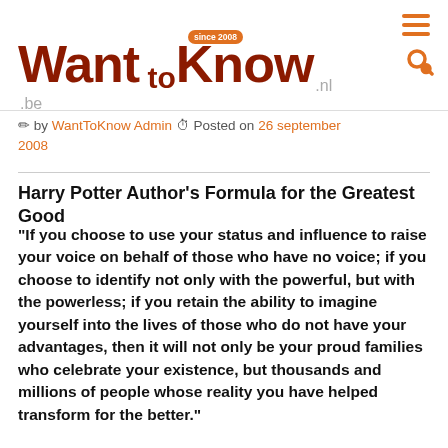WantToKnow.nl.be — since 2008
✏ by WantToKnow Admin ⏱ Posted on 26 september 2008
Harry Potter Author's Formula for the Greatest Good
"If you choose to use your status and influence to raise your voice on behalf of those who have no voice; if you choose to identify not only with the powerful, but with the powerless; if you retain the ability to imagine yourself into the lives of those who do not have your advantages, then it will not only be your proud families who celebrate your existence, but thousands and millions of people whose reality you have helped transform for the better."